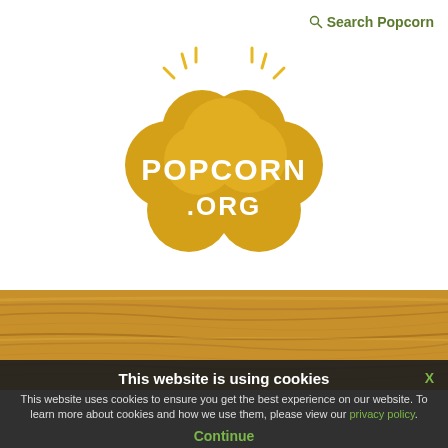Search Popcorn
[Figure (logo): Popcorn.org logo - golden yellow popcorn cloud shape with white text reading POPCORN .ORG, with shine lines around it]
[Figure (photo): Wooden plank texture background, warm brown tones]
This website is using cookies
This website uses cookies to ensure you get the best experience on our website. To learn more about cookies and how we use them, please view our privacy policy.
Continue